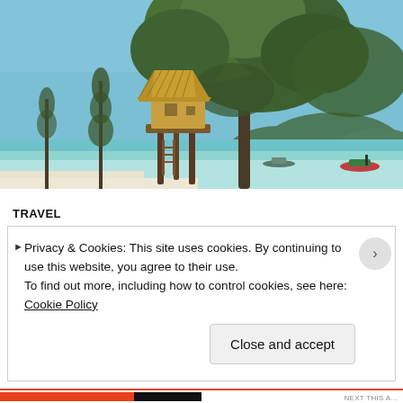[Figure (photo): Tropical beach scene with a stilt thatched-roof hut, large tree with green foliage, turquoise sea water, distant green hills, and a boat in the water under a blue sky.]
TRAVEL
Privacy & Cookies: This site uses cookies. By continuing to use this website, you agree to their use.
To find out more, including how to control cookies, see here: Cookie Policy
Close and accept